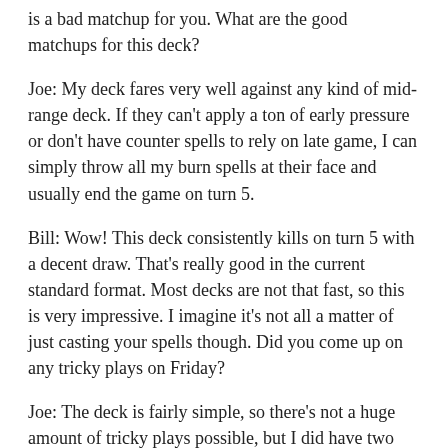is a bad matchup for you. What are the good matchups for this deck?
Joe: My deck fares very well against any kind of mid-range deck. If they can't apply a ton of early pressure or don't have counter spells to rely on late game, I can simply throw all my burn spells at their face and usually end the game on turn 5.
Bill: Wow! This deck consistently kills on turn 5 with a decent draw. That's really good in the current standard format. Most decks are not that fast, so this is very impressive. I imagine it's not all a matter of just casting your spells though. Did you come up on any tricky plays on Friday?
Joe: The deck is fairly simple, so there's not a huge amount of tricky plays possible, but I did have two moves that I especially enjoyed: One player tapped out and played a Jace, Architect of Thought and used his -2